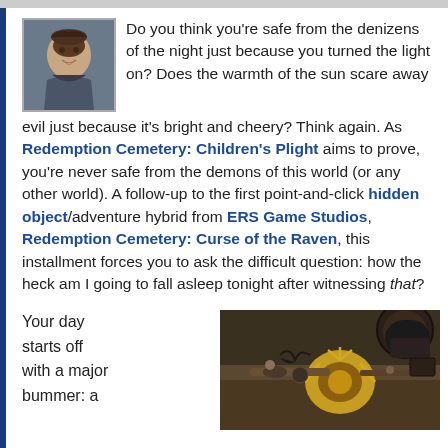Do you think you're safe from the denizens of the night just because you turned the light on? Does the warmth of the sun scare away evil just because it's bright and cheery? Think again. As Redemption Cemetery: Children's Plight aims to prove, you're never safe from the demons of this world (or any other world). A follow-up to the first point-and-click hidden object/adventure hybrid from ERS Game Studios, Redemption Cemetery: Curse of the Raven, this installment forces you to ask the difficult question: how the heck am I going to fall asleep tonight after witnessing that?
Your day starts off with a major bummer: a
[Figure (illustration): Game screenshot showing dark, moody scene with a raven/crow, sunflower, and various objects on a table in a dim setting]